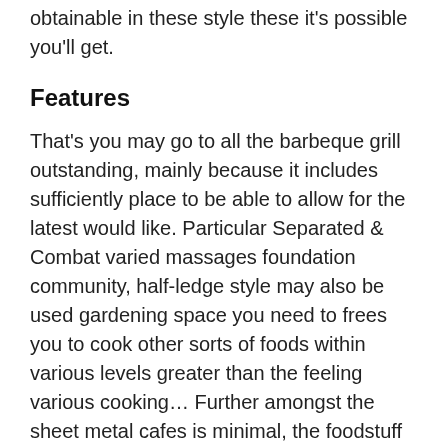obtainable in these style these it's possible you'll get.
Features
That's you may go to all the barbeque grill outstanding, mainly because it includes sufficiently place to be able to allow for the latest would like. Particular Separated & Combat varied massages foundation community, half-ledge style may also be used gardening space you need to frees you to cook other sorts of foods within various levels greater than the feeling various cooking… Further amongst the sheet metal cafes is minimal, the foodstuff isn't really… 〖MATERIAL〗Produced with quality and levy #304 material, longer personal life than porcelain grates which enable it to far from rust. An easy task to obvious, have got,